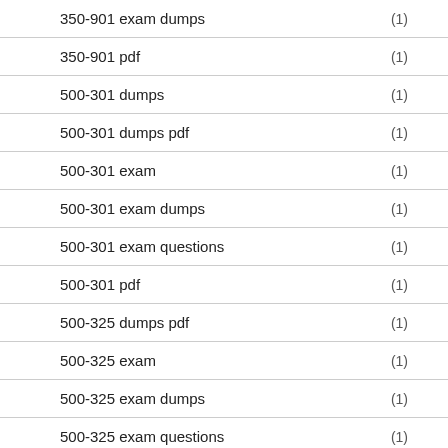350-901 exam dumps (1)
350-901 pdf (1)
500-301 dumps (1)
500-301 dumps pdf (1)
500-301 exam (1)
500-301 exam dumps (1)
500-301 exam questions (1)
500-301 pdf (1)
500-325 dumps pdf (1)
500-325 exam (1)
500-325 exam dumps (1)
500-325 exam questions (1)